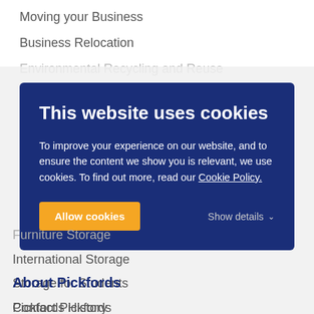Moving your Business
Business Relocation
Environmental Recycling and Reuse
[Figure (screenshot): Cookie consent modal with dark blue background. Title: 'This website uses cookies'. Body text: 'To improve your experience on our website, and to ensure the content we show you is relevant, we use cookies. To find out more, read our Cookie Policy.' Buttons: 'Allow cookies' (orange) and 'Show details' with chevron.]
Furniture Storage
International Storage
Storage for Students
Contact Pickfords
About Pickfords
Pickfords History